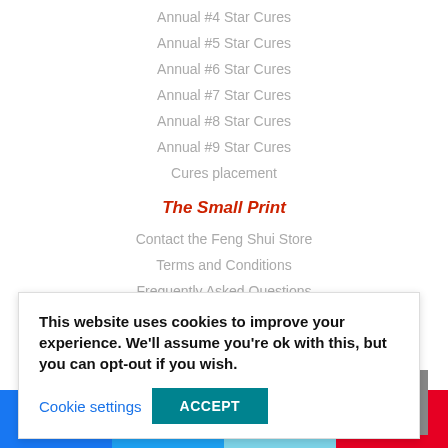Annual #4 Star Cures
Annual #5 Star Cures
Annual #6 Star Cures
Annual #7 Star Cures
Annual #8 Star Cures
Annual #9 Star Cures
Cures placement
The Small Print
Contact the Feng Shui Store
Terms and Conditions
Frequently Asked Questions
Privacy Policy
Delivery and Returns
This website uses cookies to improve your experience. We'll assume you're ok with this, but you can opt-out if you wish.
[Figure (logo): Delta logo — grey triangular shape with DELTA text]
Facebook 356 | Twitter | Email | Pinterest 1